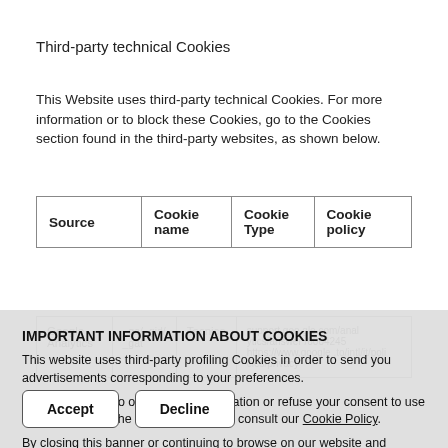Third-party technical Cookies
This Website uses third-party technical Cookies. For more information or to block these Cookies, go to the Cookies section found in the third-party websites, as shown below.
| Source | Cookie name | Cookie Type | Cookie policy |
| --- | --- | --- | --- |
| Google Analytics | _ga/_gid/_gat | Tecnico | support.google.com/analytics/answer/6004245 https://www.google.to/intl/it/policies/privacy |
IMPORTANT INFORMATION ABOUT COOKIES
This website uses third-party profiling Cookies in order to send you advertisements corresponding to your preferences.
If you would like to obtain more information or refuse your consent to use of all or some of the Cookies, you may consult our Cookie Policy.
By closing this banner or continuing to browse on our website and access any part of it, you consent to the use of Cookies.